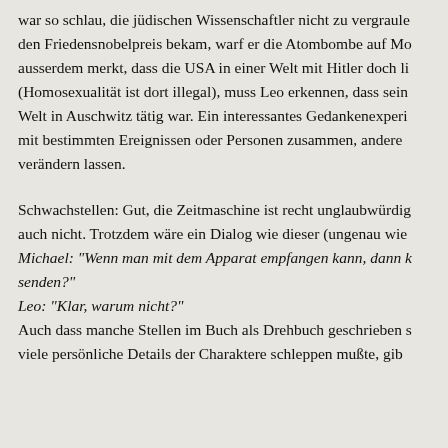war so schlau, die jüdischen Wissenschaftler nicht zu vergraule den Friedensnobelpreis bekam, warf er die Atombombe auf Mo ausserdem merkt, dass die USA in einer Welt mit Hitler doch li (Homosexualität ist dort illegal), muss Leo erkennen, dass sein Welt in Auschwitz tätig war. Ein interessantes Gedankenexperi mit bestimmten Ereignissen oder Personen zusammen, andere verändern lassen.
Schwachstellen: Gut, die Zeitmaschine ist recht unglaubwürdig auch nicht. Trotzdem wäre ein Dialog wie dieser (ungenau wie Michael: "Wenn man mit dem Apparat empfangen kann, dann k senden?" Leo: "Klar, warum nicht?" Auch dass manche Stellen im Buch als Drehbuch geschrieben s viele persönliche Details der Charaktere schleppen mußte, gib